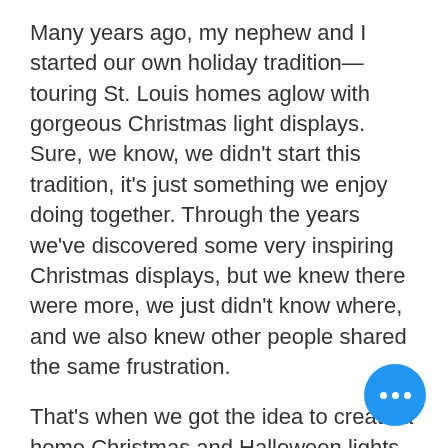Many years ago, my nephew and I started our own holiday tradition—touring St. Louis homes aglow with gorgeous Christmas light displays. Sure, we know, we didn't start this tradition, it's just something we enjoy doing together. Through the years we've discovered some very inspiring Christmas displays, but we knew there were more, we just didn't know where, and we also knew other people shared the same frustration.
That's when we got the idea to create a home Christmas and Halloween lights display locator website featuring all the homes in the area we thought were worth the drive, give a brief description, location, along with a photo. The idea took off and we now have over 20 homeowners participating who have allowed us to showcase their homes on
[Figure (other): Blue circular button with three white dots (more/ellipsis button) in the bottom right corner]